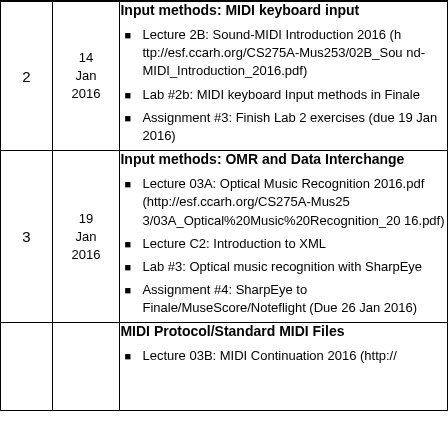| # | Date | Content |
| --- | --- | --- |
| 2 | 14 Jan 2016 | Input methods: MIDI keyboard input
• Lecture 2B: Sound-MIDI Introduction 2016 (http://esf.ccarh.org/CS275A-Mus253/02B_Sound-MIDI_Introduction_2016.pdf)
• Lab #2b: MIDI keyboard Input methods in Finale
• Assignment #3: Finish Lab 2 exercises (due 19 Jan 2016) |
| 3 | 19 Jan 2016 | Input methods: OMR and Data Interchange
• Lecture 03A: Optical Music Recognition 2016.pdf (http://esf.ccarh.org/CS275A-Mus253/03A_Optical%20Music%20Recognition_2016.pdf)
• Lecture C2: Introduction to XML
• Lab #3: Optical music recognition with SharpEye
• Assignment #4: SharpEye to Finale/MuseScore/Noteflight (Due 26 Jan 2016) |
|  |  | MIDI Protocol/Standard MIDI Files
• Lecture 03B: MIDI Continuation 2016 (http:// |